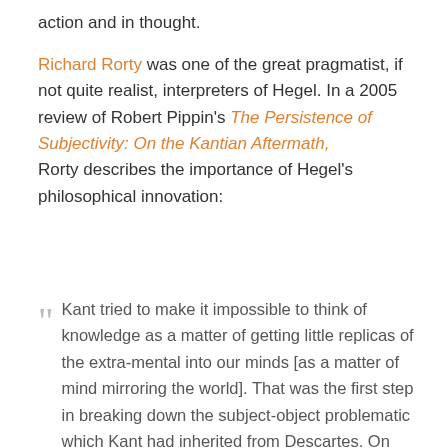action and in thought.
Richard Rorty was one of the great pragmatist, if not quite realist, interpreters of Hegel. In a 2005 review of Robert Pippin's The Persistence of Subjectivity: On the Kantian Aftermath, Rorty describes the importance of Hegel's philosophical innovation:
Kant tried to make it impossible to think of knowledge as a matter of getting little replicas of the extra-mental into our minds [as a matter of mind mirroring the world]. That was the first step in breaking down the subject-object problematic which Kant had inherited from Descartes. On Pippin's account, Hegel took the next step by replacing the